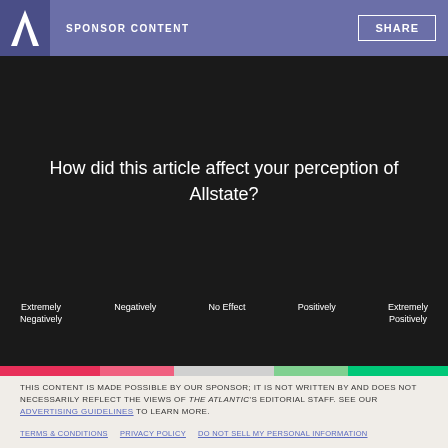SPONSOR CONTENT
How did this article affect your perception of Allstate?
Extremely Negatively | Negatively | No Effect | Positively | Extremely Positively
THIS CONTENT IS MADE POSSIBLE BY OUR SPONSOR; IT IS NOT WRITTEN BY AND DOES NOT NECESSARILY REFLECT THE VIEWS OF THE ATLANTIC'S EDITORIAL STAFF. SEE OUR ADVERTISING GUIDELINES TO LEARN MORE.
TERMS & CONDITIONS   PRIVACY POLICY   DO NOT SELL MY PERSONAL INFORMATION